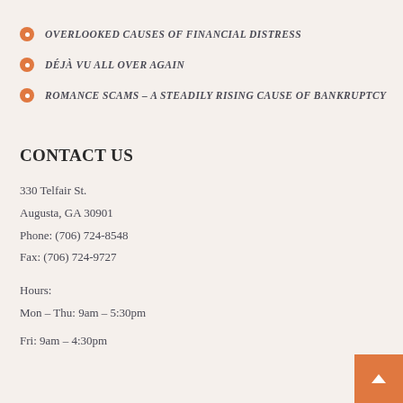OVERLOOKED CAUSES OF FINANCIAL DISTRESS
DÉJÀ VU ALL OVER AGAIN
ROMANCE SCAMS – A STEADILY RISING CAUSE OF BANKRUPTCY
CONTACT US
330 Telfair St.
Augusta, GA 30901
Phone: (706) 724-8548
Fax: (706) 724-9727

Hours:
Mon – Thu:  9am – 5:30pm
Fri: 9am – 4:30pm